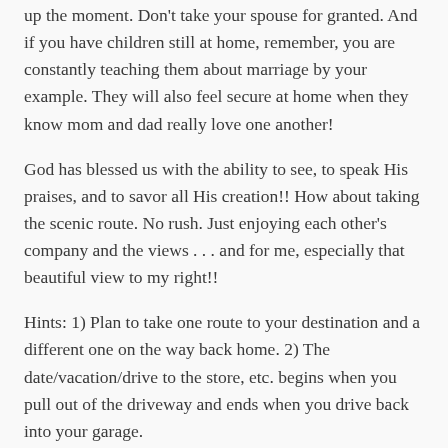up the moment. Don't take your spouse for granted. And if you have children still at home, remember, you are constantly teaching them about marriage by your example. They will also feel secure at home when they know mom and dad really love one another!
God has blessed us with the ability to see, to speak His praises, and to savor all His creation!! How about taking the scenic route. No rush. Just enjoying each other's company and the views . . . and for me, especially that beautiful view to my right!!
Hints: 1) Plan to take one route to your destination and a different one on the way back home. 2) The date/vacation/drive to the store, etc. begins when you pull out of the driveway and ends when you drive back into your garage.
SHARE THIS: